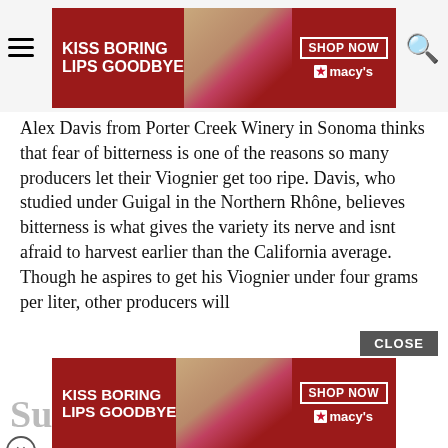[Figure (screenshot): Macy's advertisement banner: red background, woman's face with red lips, text 'KISS BORING LIPS GOODBYE', 'SHOP NOW' button, Macy's star logo. Hamburger menu icon on left, search icon on right.]
Alex Davis from Porter Creek Winery in Sonoma thinks that fear of bitterness is one of the reasons so many producers let their Viognier get too ripe. Davis, who studied under Guigal in the Northern Rhône, believes bitterness is what gives the variety its nerve and isnt afraid to harvest earlier than the California average. Though he aspires to get his Viognier under four grams per liter, other producers will [residual sugar to ease its] [of The Royal Tokaji Wine] [e same thing with Furmint,] [metimes in a higher acid] [hree grams of residual sugar to make a better balance. We do this by cooling down the fermentation, racking, and sulfuring.
[Figure (screenshot): Black rectangle overlay covering left portion of text]
[Figure (screenshot): Macy's advertisement banner at bottom: same design as top banner. 'KISS BORING LIPS GOODBYE', 'SHOP NOW', Macy's star logo. 'CLOSE' button above it.]
Sug...s (partial text of next section heading, cropped by ad)